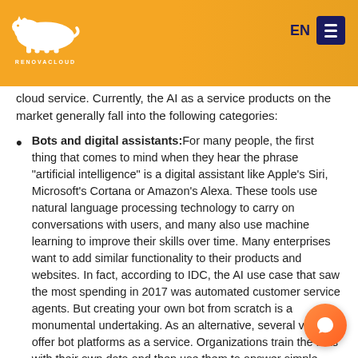RENOVACLOUD | EN
cloud service. Currently, the AI as a service products on the market generally fall into the following categories:
Bots and digital assistants: For many people, the first thing that comes to mind when they hear the phrase “artificial intelligence” is a digital assistant like Apple's Siri, Microsoft's Cortana or Amazon's Alexa. These tools use natural language processing technology to carry on conversations with users, and many also use machine learning to improve their skills over time. Many enterprises want to add similar functionality to their products and websites. In fact, according to IDC, the AI use case that saw the most spending in 2017 was automated customer service agents. But creating your own bot from scratch is a monumental undertaking. As an alternative, several vendors offer bot platforms as a service. Organizations train the bots with their own data and then use them to answer simple questions, freeing up human customer service agents for more complicated tasks.